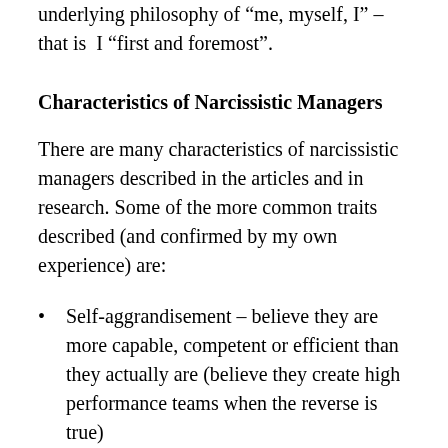underlying philosophy of "me, myself, I" – that is I "first and foremost".
Characteristics of Narcissistic Managers
There are many characteristics of narcissistic managers described in the articles and in research. Some of the more common traits described (and confirmed by my own experience) are:
Self-aggrandisement – believe they are more capable, competent or efficient than they actually are (believe they create high performance teams when the reverse is true)
Obsession with self advancement – their